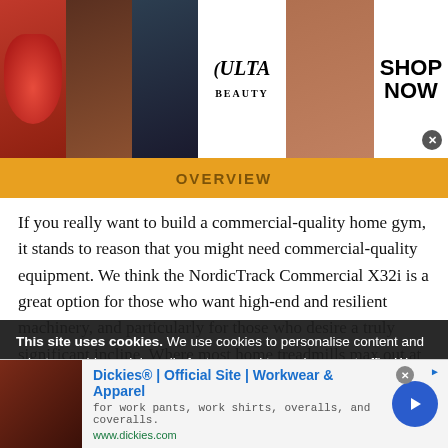[Figure (screenshot): ULTA Beauty advertisement banner at top with makeup photos, logo, and SHOP NOW call to action]
OVERVIEW
If you really want to build a commercial-quality home gym, it stands to reason that you might need commercial-quality equipment. We think the NordicTrack Commercial X32i is a great option for those who want high-end and resilient machinery, and particularly for those who desire a truly significant incline. Where most home treadmills max out at a 12-percent gradation, this one goes all the way to 40—ideal for those who like to hike or run outdoors where you encounter various levels of elevation. And, for more of a of our site with our social media, advertising and analytics
This site uses cookies. We use cookies to personalise content and ads, to provide social media features and to analyse our traffic. We also share information about your use of our site with our social media, advertising and analytics
[Figure (screenshot): Dickies Official Site Workwear and Apparel advertisement banner at bottom]